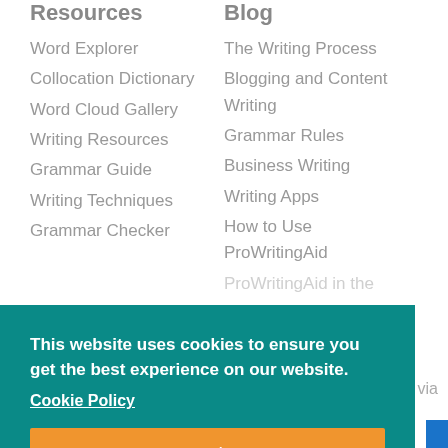Resources
Word Explorer
Collocation Dictionary
Word Cloud Gallery
Writing Resources
Grammar Guide
Writing Techniques
Grammar Checker
Blog
The Writing Process
Blogging and Content Writing
Grammar Rules
Business Writing
Writing Apps
How to Use ProWritingAid
ProWritingAid in the
This website uses cookies to ensure you get the best experience on our website.
Cookie Policy
Got it!
h via
Sitemap